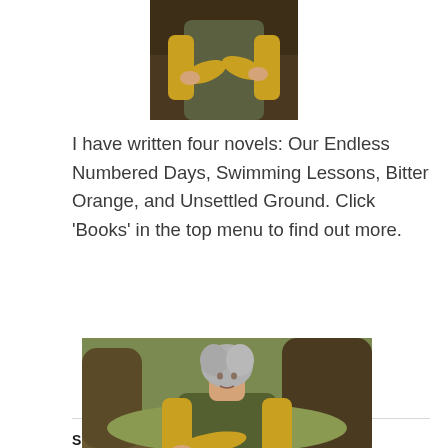[Figure (photo): Partial photo of a woman in a yellow/mustard top with arms crossed, outdoors with trees in background. Only torso visible, top of image cropped.]
I have written four novels: Our Endless Numbered Days, Swimming Lessons, Bitter Orange, and Unsettled Ground. Click 'Books' in the top menu to find out more.
SUBSCRIBE TO MY NEWSLETTER
[Figure (photo): Photo of a woman with short grey hair, wearing a mustard yellow long-sleeve top and an olive/dark green vest, sitting outdoors in a wooded park area with trees and autumn leaves on the ground. She rests her chin on her hand and looks at the camera.]